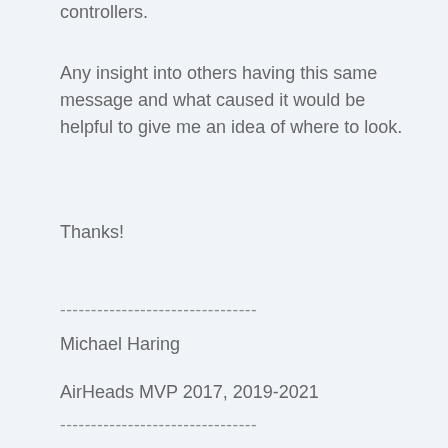controllers.
Any insight into others having this same message and what caused it would be helpful to give me an idea of where to look.
Thanks!
--------------------------------
Michael Haring
AirHeads MVP 2017, 2019-2021
--------------------------------